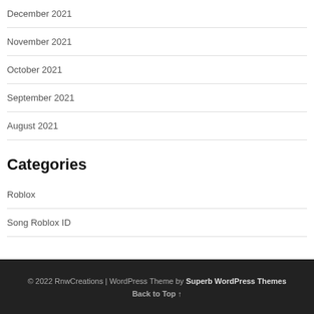December 2021
November 2021
October 2021
September 2021
August 2021
Categories
Roblox
Song Roblox ID
© 2022 RnwCreations | WordPress Theme by Superb WordPress Themes
Back to Top ↑